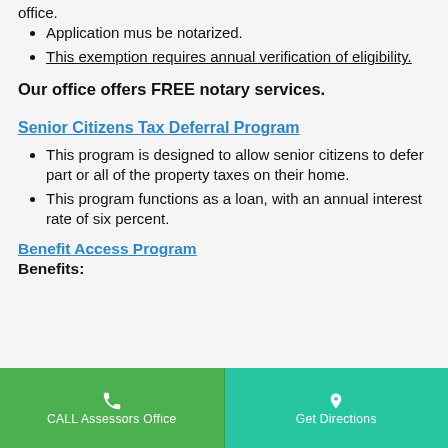office.
Application mus be notarized.
This exemption requires annual verification of eligibility.
Our office offers FREE notary services.
Senior Citizens Tax Deferral Program
This program is designed to allow senior citizens to defer part or all of the property taxes on their home.
This program functions as a loan, with an annual interest rate of six percent.
Benefit Access Program
Benefits:
CALL Assessors Office | Get Directions